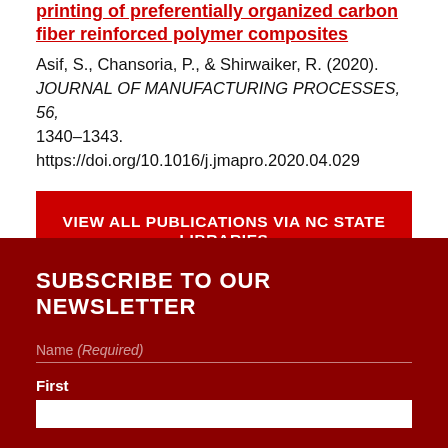printing of preferentially organized carbon fiber reinforced polymer composites
Asif, S., Chansoria, P., & Shirwaiker, R. (2020). JOURNAL OF MANUFACTURING PROCESSES, 56, 1340–1343. https://doi.org/10.1016/j.jmapro.2020.04.029
VIEW ALL PUBLICATIONS VIA NC STATE LIBRARIES
SUBSCRIBE TO OUR NEWSLETTER
Name (Required)
First